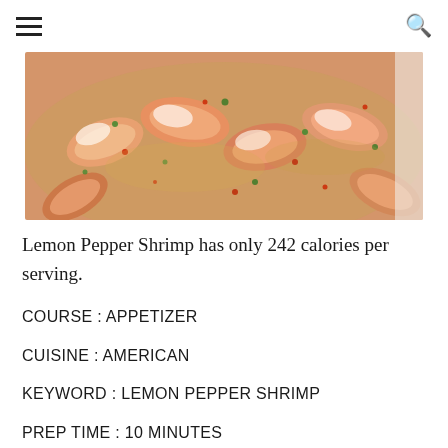≡  🔍
[Figure (photo): Close-up photo of lemon pepper shrimp with red pepper flakes and fresh herbs on a plate]
Lemon Pepper Shrimp has only 242 calories per serving.
COURSE : APPETIZER
CUISINE : AMERICAN
KEYWORD : LEMON PEPPER SHRIMP
PREP TIME : 10 MINUTES